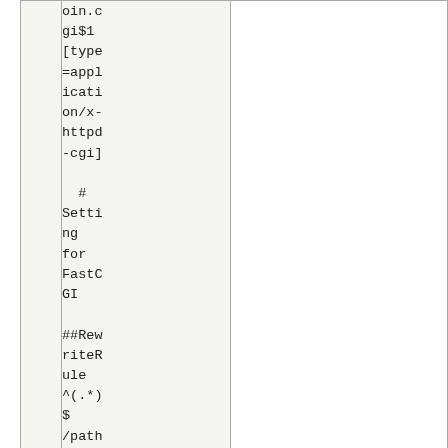oin.cgi$1[type=application/x-httpd-cgi]

    # Setting for FastCGI

##RewriteRule ^(.*) $/path/to/moin.fcg$1[t...